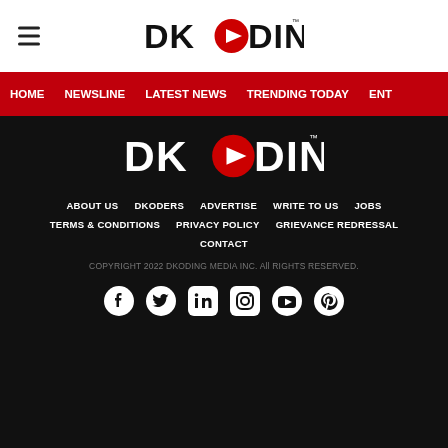DKODING
HOME  NEWSLINE  LATEST NEWS  TRENDING TODAY  ENT
[Figure (logo): DKODING logo in white on black background with red play button O]
ABOUT US  DKODERS  ADVERTISE  WRITE TO US  JOBS
TERMS & CONDITIONS  PRIVACY POLICY  GRIEVANCE REDRESSAL
CONTACT
COPYRIGHT 2022 DKODING MEDIA INC. All RIGHTS RESERVED.
[Figure (other): Social media icons: Facebook, Twitter, LinkedIn, Instagram, YouTube, Pinterest]